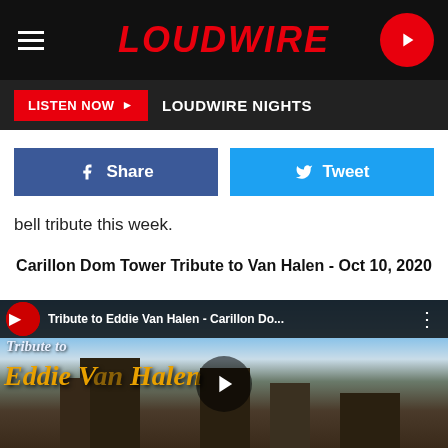LOUDWIRE
LISTEN NOW ▶  LOUDWIRE NIGHTS
[Figure (screenshot): Facebook Share button (blue) and Twitter Tweet button (blue) side by side]
bell tribute this week.
Carillon Dom Tower Tribute to Van Halen - Oct 10, 2020
[Figure (screenshot): YouTube video embed thumbnail: Tribute to Eddie Van Halen - Carillon Do... showing an aerial city view with decorative orange script text 'Tribute to Eddie Van Halen' and a play button in the center]